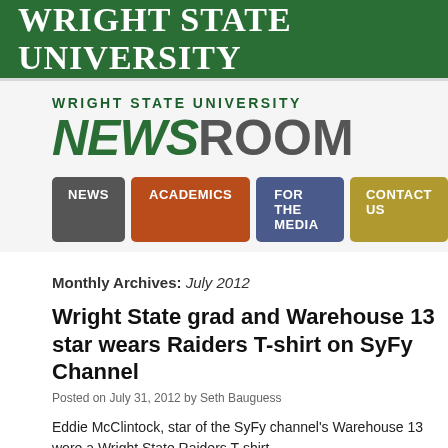WRIGHT STATE UNIVERSITY
[Figure (logo): Wright State University Newsroom logo with green NEWS and gray ROOM text]
NEWS | ACADEMICS | FOR THE MEDIA | CONTACT US
Monthly Archives: July 2012
Wright State grad and Warehouse 13 star wears Raiders T-shirt on SyFy Channel
Posted on July 31, 2012 by Seth Bauguess
Eddie McClintock, star of the SyFy channel's Warehouse 13 wore a Wright State Raiders T-shirt